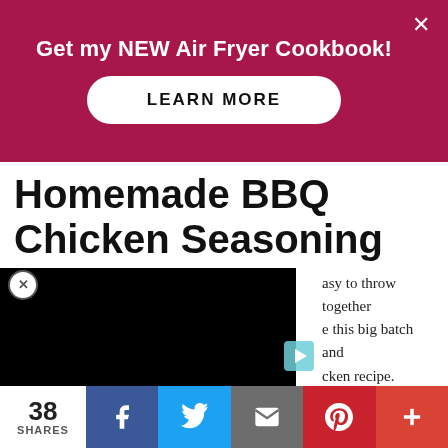Get my NEW Air Fryer Cookbook!
LEARN MORE
Homemade BBQ Chicken Seasoning
[Figure (screenshot): Black video player thumbnail with play button overlay]
asy to throw together e this big batch and cken recipe.
38 SHARES